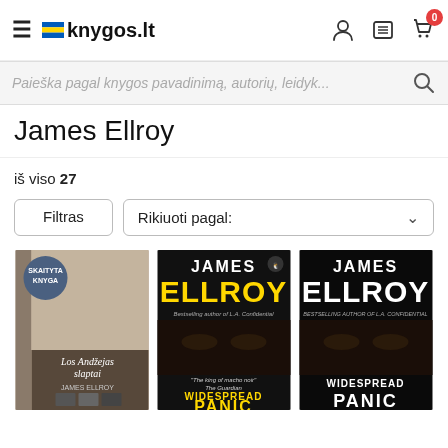knygos.lt — navigation header with hamburger menu, logo, user icon, list icon, cart icon (0)
Paieška pagal knygos pavadinimą, autorių, leidyk...
James Ellroy
iš viso 27
Filtras | Rikiuoti pagal:
[Figure (screenshot): Three book covers: 1) Los Andžejas slaptai by James Ellroy with 'SKAITYTA KNYGA' badge, 2) James Ellroy - Widespread Panic (black cover, yellow text, Penguin), 3) James Ellroy - Widespread Panic (black cover, white text)]